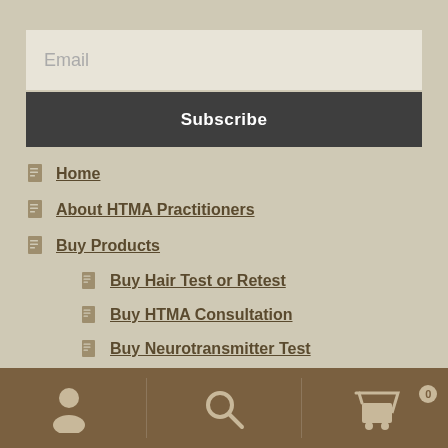Email
Subscribe
Home
About HTMA Practitioners
Buy Products
Buy Hair Test or Retest
Buy HTMA Consultation
Buy Neurotransmitter Test
Buy Supplements
Contact Us
Client Audios
[Figure (other): Bottom navigation bar with user/account icon, search icon, and shopping cart icon with 0 badge]